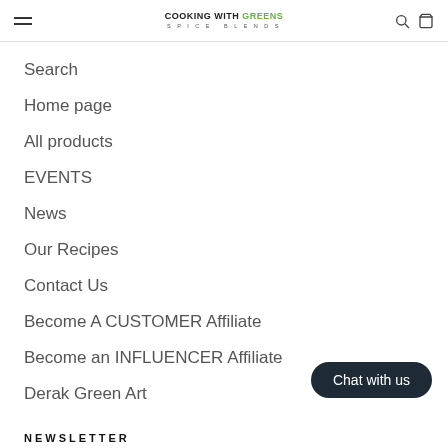COOKING WITH GREENS SPICE BLENDS
Search
Home page
All products
EVENTS
News
Our Recipes
Contact Us
Become A CUSTOMER Affiliate
Become an INFLUENCER Affiliate
Derak Green Art
Chat with us
NEWSLETTER